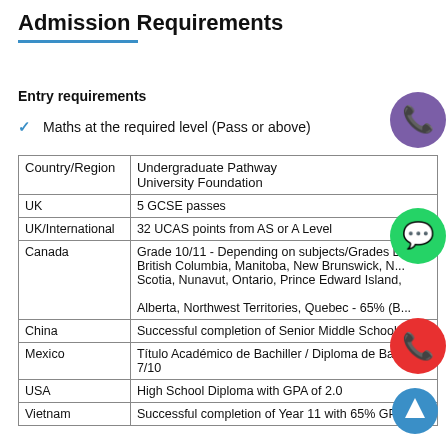Admission Requirements
Entry requirements
Maths at the required level (Pass or above)
| Country/Region | Undergraduate Pathway
University Foundation |
| --- | --- |
| UK | 5 GCSE passes |
| UK/International | 32 UCAS points from AS or A Level |
| Canada | Grade 10/11 - Depending on subjects/Grades D... British Columbia, Manitoba, New Brunswick, N... Scotia, Nunavut, Ontario, Prince Edward Island,

Alberta, Northwest Territories, Quebec - 65% (B... |
| China | Successful completion of Senior Middle School ... |
| Mexico | Título Académico de Bachiller / Diploma de Ba... 7/10 |
| USA | High School Diploma with GPA of 2.0 |
| Vietnam | Successful completion of Year 11 with 65% GPA |